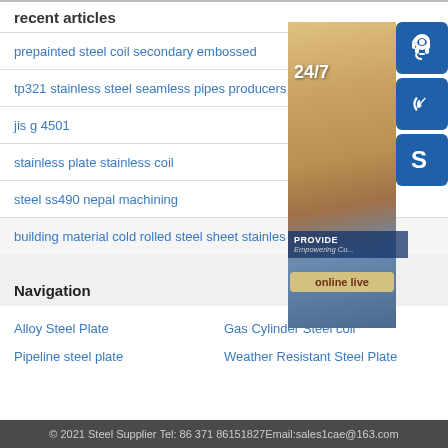recent articles
prepainted steel coil secondary embossed
tp321 stainless steel seamless pipes producers
jis g 4501
stainless plate stainless coil
steel ss490 nepal machining
building material cold rolled steel sheet stainles
Navigation
Alloy Steel Plate
Gas Cylinder Steel coil
Pipeline steel plate
Weather Resistant Steel Plate
[Figure (photo): Customer service representative with headset, 24/7 support banner, online live chat button, and contact icons (headset, phone, Skype) on blue background]
© 2021 Steel Supplier Tel: 86 371 86151827Email:sales1cae@163.com